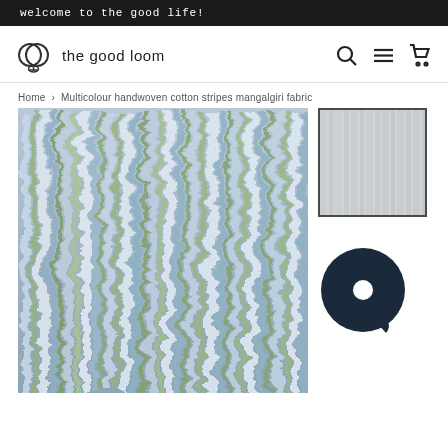welcome to the good life!
[Figure (logo): The Good Loom logo with circular icon and text 'the good loom']
Home > Multicolour handwoven cotton stripes mangalgiri fabric
[Figure (photo): Close-up of multicolour handwoven cotton stripes mangalgiri fabric showing blue, green, and white vertical stripes with a swirling texture]
[Figure (photo): Thumbnail of a light grey/white fabric close-up]
[Figure (other): Chat support bubble icon in dark navy blue]